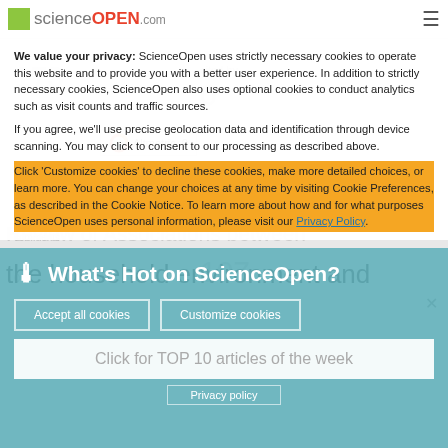scienceOPEN.com
We value your privacy: ScienceOpen uses strictly necessary cookies to operate this website and to provide you with a better user experience. In addition to strictly necessary cookies, ScienceOpen also uses optional cookies to conduct analytics such as visit counts and traffic sources.
If you agree, we'll use precise geolocation data and identification through device scanning. You may click to consent to our processing as described above.
Click 'Customize cookies' to decline these cookies, make more detailed choices, or learn more. You can change your choices at any time by visiting Cookie Preferences, as described in the Cookie Notice. To learn more about how and for what purposes ScienceOpen uses personal information, please visit our Privacy Policy.
[Figure (other): What's Hot on ScienceOpen panel with thermometer icon, Accept all cookies and Customize cookies buttons, Click for TOP 10 articles of the week button, and Privacy policy link]
Review of Associations between
the household environment and